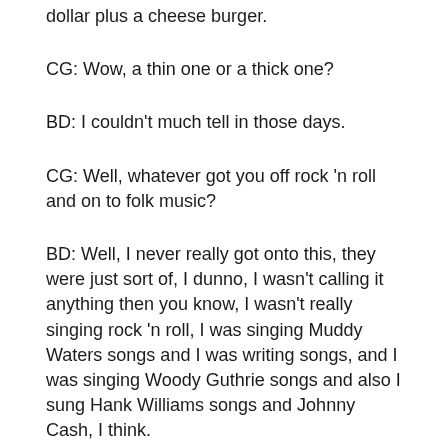dollar plus a cheese burger.
CG: Wow, a thin one or a thick one?
BD: I couldn't much tell in those days.
CG: Well, whatever got you off rock 'n roll and on to folk music?
BD: Well, I never really got onto this, they were just sort of, I dunno, I wasn't calling it anything then you know, I wasn't really singing rock 'n roll, I was singing Muddy Waters songs and I was writing songs, and I was singing Woody Guthrie songs and also I sung Hank Williams songs and Johnny Cash, I think.
CG: Yeah, I think the ones that I heard were a couple of the Johnny Cash songs.